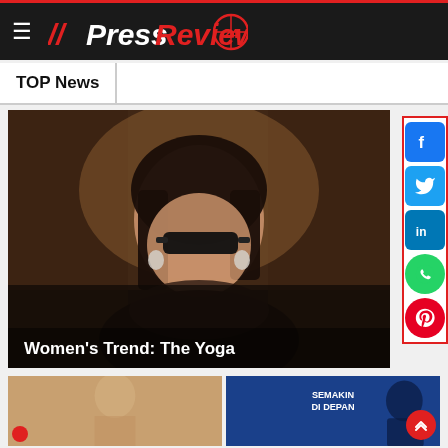PressReview24
TOP News
[Figure (photo): Woman with dark hair and sunglasses wearing a dark outfit, photographed in a dimly lit interior setting. Text overlay reads Women's Trend: The Yoga]
Women's Trend: The Yoga
[Figure (photo): Two thumbnail images at the bottom of the page — left shows a fashion/outdoor scene, right shows a blue background with text SEMAKIN DI DEPAN]
SEMAKIN DI DEPAN